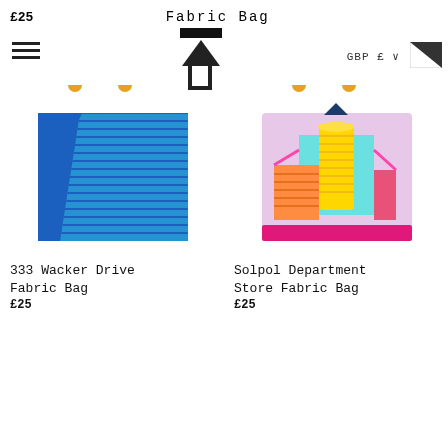£25  Fabric Bag
[Figure (illustration): Hamburger menu icon (three horizontal lines)]
[Figure (illustration): Bag/cart upload icon with black triangle and bracket shape]
GBP £ ∨
[Figure (illustration): Flag icon - black and white triangle]
[Figure (photo): 333 Wacker Drive Fabric Bag - blue tote bag with yellow handles and diagonal light blue stripe pattern]
333 Wacker Drive Fabric Bag
£25
[Figure (photo): Solpol Department Store Fabric Bag - pink/lavender tote bag with yellow handles and colorful building illustration]
Solpol Department Store Store Fabric Bag
£25
[Figure (illustration): Partial view of a yellow-handled tote bag at the bottom left]
[Figure (illustration): Partial view of a yellow-handled tote bag at the bottom right]